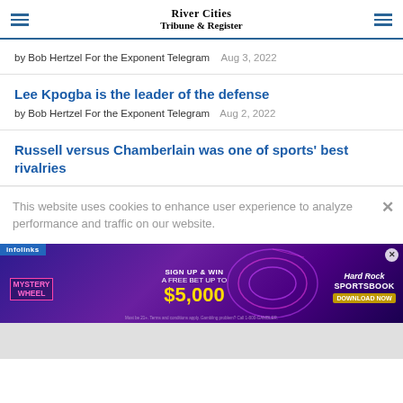River Cities Tribune & Register
by Bob Hertzel For the Exponent Telegram  Aug 3, 2022
Lee Kpogba is the leader of the defense
by Bob Hertzel For the Exponent Telegram  Aug 2, 2022
Russell versus Chamberlain was one of sports' best rivalries
This website uses cookies to enhance user experience to analyze performance and traffic on our website.
[Figure (infographic): Hard Rock Sportsbook advertisement: Mystery Wheel, Sign Up & Win a Free Bet Up To $5,000]